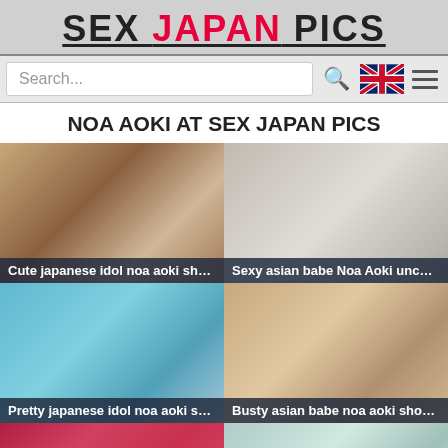SEX JAPAN PICS
Search...
NOA AOKI AT SEX JAPAN PICS
[Figure (photo): Thumbnail 1 – Cute japanese idol noa aoki sho...]
[Figure (photo): Thumbnail 2 – Sexy asian babe Noa Aoki uncov...]
[Figure (photo): Thumbnail 3 – Pretty japanese idol noa aoki sh...]
[Figure (photo): Thumbnail 4 – Busty asian babe noa aoki shows...]
[Figure (photo): Thumbnail 5 – bottom left partial]
[Figure (photo): Thumbnail 6 – bottom right partial]